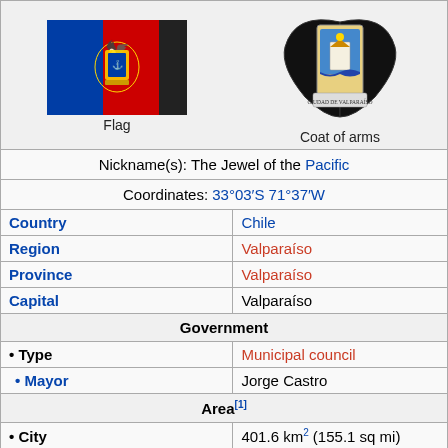[Figure (illustration): Flag of Valparaíso - blue, red and black vertical stripes with coat of arms emblem in center]
Flag
[Figure (illustration): Coat of arms of Valparaíso - black eagle wings with central shield showing city imagery]
Coat of arms
Nickname(s): The Jewel of the Pacific
Coordinates: 33°03′S 71°37′W
| Field | Value |
| --- | --- |
| Country | Chile |
| Region | Valparaíso |
| Province | Valparaíso |
| Capital | Valparaíso |
| Government |  |
| • Type | Municipal council |
| • Mayor | Jorge Castro |
| Area[1] |  |
| • City | 401.6 km² (155.1 sq mi) |
| Population (2002)[1] |  |
| • City | 275,982 |
| • Density | 690/km² (1,800/sq mi) |
| • Urban | 275,141 |